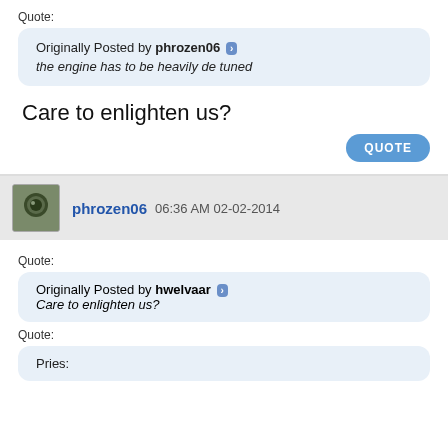Quote:
Originally Posted by phrozen06 ▶ the engine has to be heavily de tuned
Care to enlighten us?
QUOTE
phrozen06 06:36 AM 02-02-2014
Quote:
Originally Posted by hwelvaar ▶ Care to enlighten us?
Quote:
Pries: